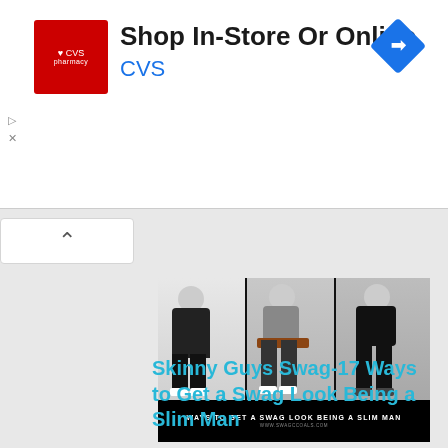[Figure (screenshot): CVS Pharmacy advertisement banner. Red CVS logo on left, 'Shop In-Store Or Online' in bold black text, 'CVS' in blue text, blue navigation diamond icon on right.]
[Figure (photo): Three-panel collage of slim young men in stylish outfits. Left panel: man in black t-shirt and black jeans with white sneakers against white wall. Center panel: man in gray Nike shirt sitting on bench with ripped jeans. Right panel: man in black leather jacket and black jeans on cobblestone street. Black bar at bottom reads 'WAYS TO GET A SWAG LOOK BEING A SLIM MAN' with website URL below.]
Skinny Guys Swag-17 Ways to Get a Swag Look Being a Slim Man